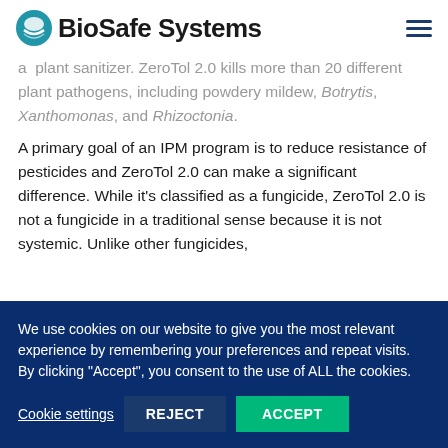BioSafe Systems
a plant sanitizer. ZeroTol 2.0 kills more than 20 different plant pathogens, including powdery mildew, Botrytis, Xanthomonas, and Rhizoctonia.
A primary goal of an IPM program is to reduce resistance of pesticides and ZeroTol 2.0 can make a significant difference. While it's classified as a fungicide, ZeroTol 2.0 is not a fungicide in a traditional sense because it is not systemic. Unlike other fungicides,
We use cookies on our website to give you the most relevant experience by remembering your preferences and repeat visits. By clicking "Accept", you consent to the use of ALL the cookies.
Cookie settings  REJECT  ACCEPT